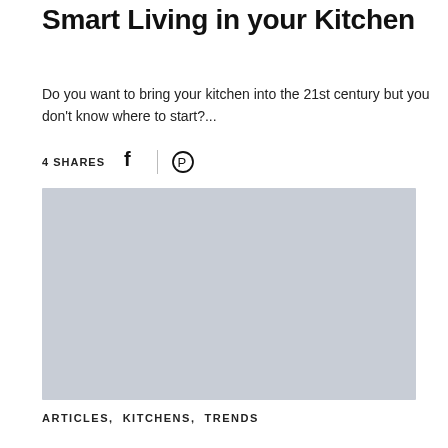Smart Living in your Kitchen
Do you want to bring your kitchen into the 21st century but you don't know where to start?...
4 SHARES
[Figure (photo): Gray placeholder image for smart kitchen article]
ARTICLES, KITCHENS, TRENDS